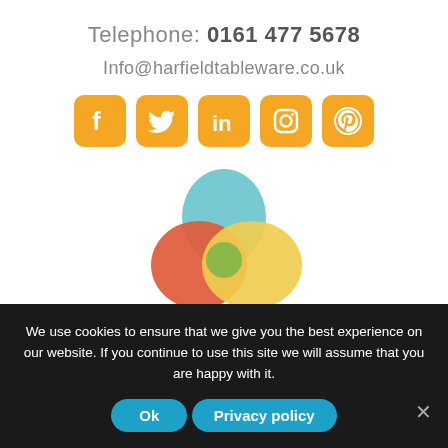Telephone: 0161 477 5678
Info@harfieldtableware.co.uk
[Figure (illustration): Five orange social media icons in rounded square buttons: Facebook, Twitter, LinkedIn, Instagram, Pinterest]
[Figure (logo): EPIO logo with three overlapping circles in blue, red/orange, and yellow with green overlap, and text EPIO below]
We use cookies to ensure that we give you the best experience on our website. If you continue to use this site we will assume that you are happy with it.
Ok   Privacy policy